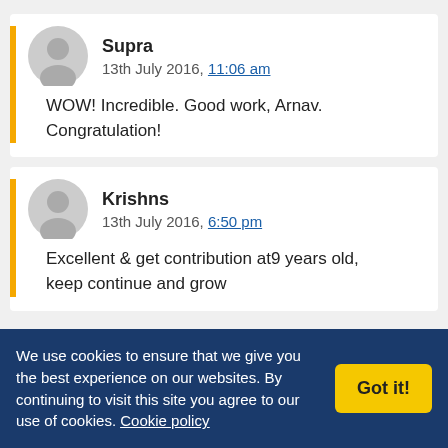Supra
13th July 2016, 11:06 am
WOW! Incredible. Good work, Arnav. Congratulation!
Krishns
13th July 2016, 6:50 pm
Excellent & get contribution at9 years old, keep continue and grow
We use cookies to ensure that we give you the best experience on our websites. By continuing to visit this site you agree to our use of cookies. Cookie policy